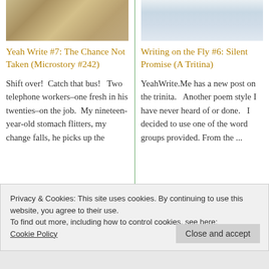[Figure (photo): Top portion of a sandy/gravelly texture image (left column)]
[Figure (photo): Top portion of a snowy winter scene image (right column)]
Yeah Write #7: The Chance Not Taken (Microstory #242)
Shift over!  Catch that bus!   Two telephone workers–one fresh in his twenties–on the job.  My nineteen-year-old stomach flitters, my change falls, he picks up the
Writing on the Fly #6: Silent Promise (A Tritina)
YeahWrite.Me has a new post on the trinita.   Another poem style I have never heard of or done.   I decided to use one of the word groups provided. From the ...
Privacy & Cookies: This site uses cookies. By continuing to use this website, you agree to their use.
To find out more, including how to control cookies, see here:
Cookie Policy
Close and accept